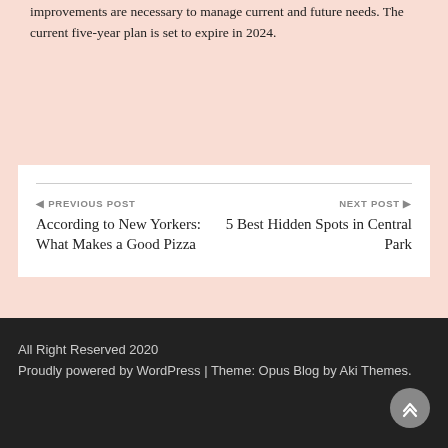improvements are necessary to manage current and future needs. The current five-year plan is set to expire in 2024.
PREVIOUS POST
According to New Yorkers: What Makes a Good Pizza
NEXT POST
5 Best Hidden Spots in Central Park
All Right Reserved 2020
Proudly powered by WordPress | Theme: Opus Blog by Aki Themes.